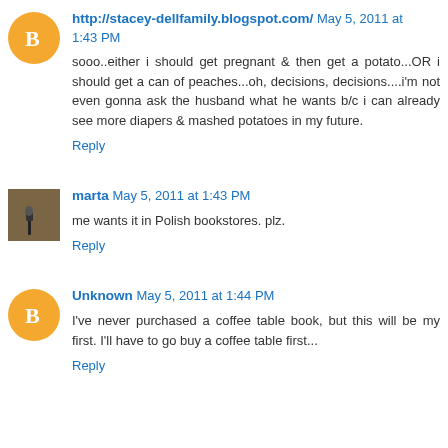http://stacey-dellfamily.blogspot.com/ May 5, 2011 at 1:43 PM
sooo..either i should get pregnant & then get a potato...OR i should get a can of peaches...oh, decisions, decisions....i'm not even gonna ask the husband what he wants b/c i can already see more diapers & mashed potatoes in my future.
Reply
marta May 5, 2011 at 1:43 PM
me wants it in Polish bookstores. plz.
Reply
Unknown May 5, 2011 at 1:44 PM
I've never purchased a coffee table book, but this will be my first. I'll have to go buy a coffee table first...
Reply